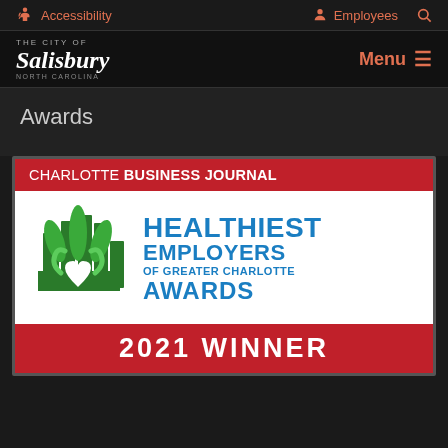Accessibility   Employees
The City of Salisbury, North Carolina — Menu
Awards
[Figure (logo): Charlotte Business Journal Healthiest Employers of Greater Charlotte Awards 2021 Winner badge/logo with red banners, green plant/heart icon, and blue text on white background]